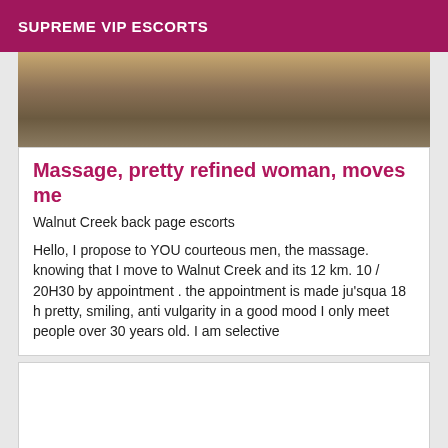SUPREME VIP ESCORTS
[Figure (photo): Partial photo of a woman, blurred/cropped background in brown and golden tones]
Massage, pretty refined woman, moves me
Walnut Creek back page escorts
Hello, I propose to YOU courteous men, the massage. knowing that I move to Walnut Creek and its 12 km. 10 / 20H30 by appointment . the appointment is made ju'squa 18 h pretty, smiling, anti vulgarity in a good mood I only meet people over 30 years old. I am selective
[Figure (photo): Second listing card, image area blank/empty white box]